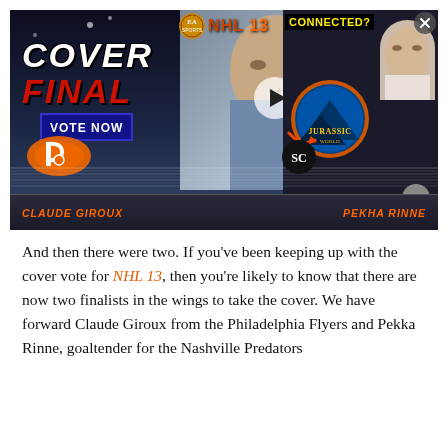[Figure (screenshot): NHL 13 EA Sports Cover Finals video thumbnail/advertisement banner showing 'COVER FINALS VOTE NOW' text with Flyers logo (Claude Giroux) on left and Pekka Rinne on right. A video overlay shows a man's face with a play button. Right side shows 'CONNECTED?' panel with Jurassic Park logo. Bottom shows player names CLAUDE GIROUX and PEKHA RINNE in orange italic text.]
And then there were two. If you've been keeping up with the cover vote for NHL 13, then you're likely to know that there are now two finalists in the wings to take the cover. We have forward Claude Giroux from the Philadelphia Flyers and Pekka Rinne, goaltender for the Nashville Predators